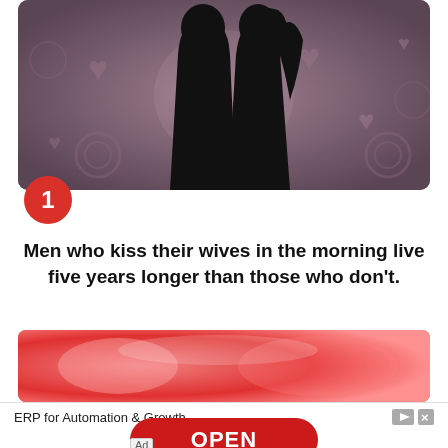[Figure (illustration): Silhouette of a couple about to kiss, shown against a purple/mauve background decorated with heart and rose patterns]
1
Men who kiss their wives in the morning live five years longer than those who don't.
[Figure (photo): Red and pink blurred romantic photo used as advertisement background image]
ERP for Automation & Growth
OPEN
Ad